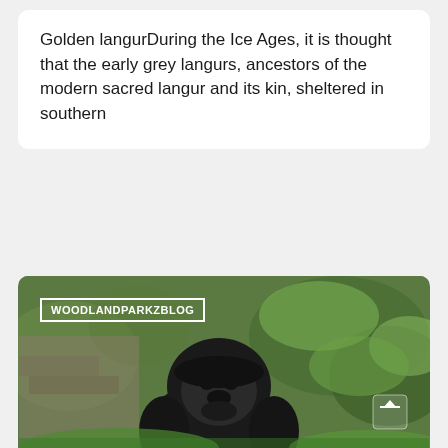Golden langurDuring the Ice Ages, it is thought that the early grey langurs, ancestors of the modern sacred langur and its kin, sheltered in southern
[Figure (photo): Close-up photograph of a gorilla looking upward, with green foliage in the background. A 'WOODLANDPARKZBLOG' badge is overlaid in the top-left corner, and a scroll-up arrow button is in the bottom-right corner.]